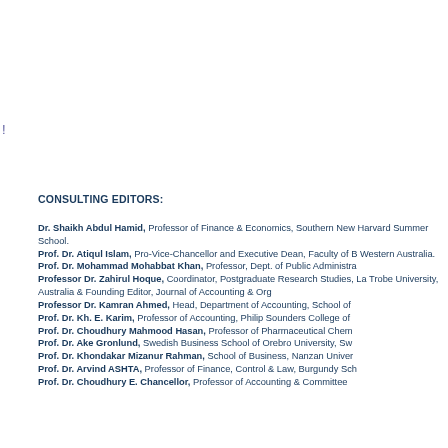!
CONSULTING EDITORS:
Dr. Shaikh Abdul Hamid, Professor of Finance & Economics, Southern New... Harvard Summer School.
Prof. Dr. Atiqul Islam, Pro-Vice-Chancellor and Executive Dean, Faculty of B... Western Australia.
Prof. Dr. Mohammad Mohabbat Khan, Professor, Dept. of Public Administra...
Professor Dr. Zahirul Hoque, Coordinator, Postgraduate Research Studies,... La Trobe University, Australia & Founding Editor, Journal of Accounting & Org...
Professor Dr. Kamran Ahmed, Head, Department of Accounting, School of...
Prof. Dr. Kh. E. Karim, Professor of Accounting, Philip Sounders College of...
Prof. Dr. Choudhury Mahmood Hasan, Professor of Pharmaceutical Chem...
Prof. Dr. Ake Gronlund, Swedish Business School of Orebro University, Sw...
Prof. Dr. Khondakar Mizanur Rahman, School of Business, Nanzan Univer...
Prof. Dr. Arvind ASHTA, Professor of Finance, Control & Law, Burgundy Sch...
Prof. Dr. Choudhury E. Chancellor, Professor of Accounting & Committee...